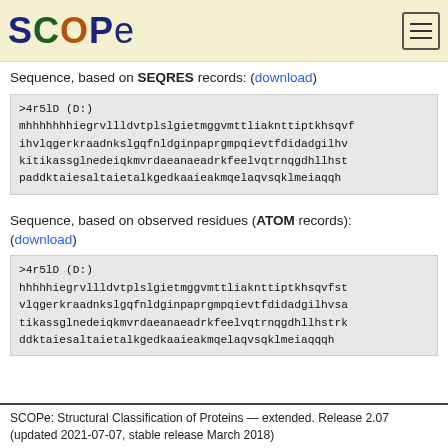[Figure (logo): SCOPe logo with colored letters and hamburger menu icon]
Sequence, based on SEQRES records: (download)
>4r5lD (D:)
mhhhhhhhiegrvllldvtplslgietmggvmttliaknttiptkhsqvf
ihvlqgerkraadnkslgqfnldginpaprgmpqievtfdidadgilhv
kitikassglnedeiqkmvrdaeanaeadrkfeelvqtrnqgdhllhst
paddktaiesaltaIetalkgedkaaieakmqelaqvsqklmeiaqqh
Sequence, based on observed residues (ATOM records): (download)
>4r5lD (D:)
hhhhhiegrvllldvtplslgietmggvmttliaknttiptkhsqvfst
vlqgerkraadnkslgqfnldginpaprgmpqievtfdidadgilhvsa
tikassglnedeiqkmvrdaeanaeadrkfeelvqtrnqgdhllhstrk
ddktaiesaltaIetalkgedkaaieakmqelaqvsqklmeiaqqqh
SCOPe: Structural Classification of Proteins — extended. Release 2.07 (updated 2021-07-07, stable release March 2018)